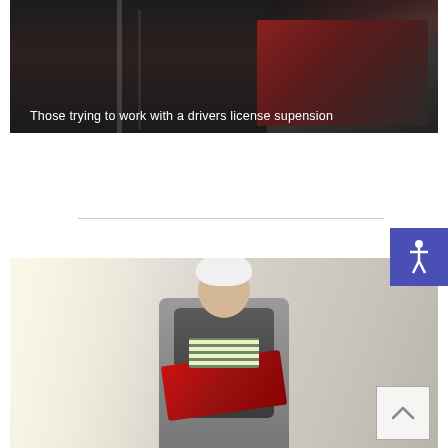[Figure (photo): A person sitting in a car interior, dark scene with red accents, viewed from inside the vehicle. Text overlay reads: Those trying to work with a drivers license supension]
Those trying to work with a drivers license supension
[Figure (photo): An elderly woman with white hair and glasses, wearing a striped top and grey jacket with a bow tie scarf, sitting in a grey chair and reading a red folder/binder. The scene has natural light coming from the side.]